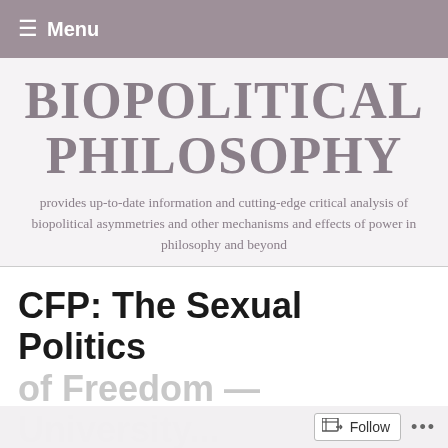≡ Menu
BIOPOLITICAL PHILOSOPHY
provides up-to-date information and cutting-edge critical analysis of biopolitical asymmetries and other mechanisms and effects of power in philosophy and beyond
CFP: The Sexual Politics of Freedom — University...